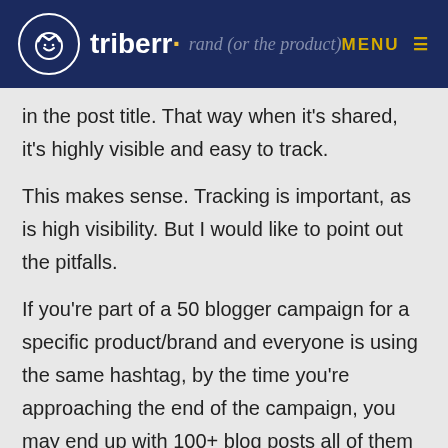triberr · [brand (or the product) be m…] MENU
in the post title. That way when it's shared, it's highly visible and easy to track.
This makes sense. Tracking is important, as is high visibility. But I would like to point out the pitfalls.
If you're part of a 50 blogger campaign for a specific product/brand and everyone is using the same hashtag, by the time you're approaching the end of the campaign, you may end up with 100+ blog posts all of them mentioning the same product/brand and